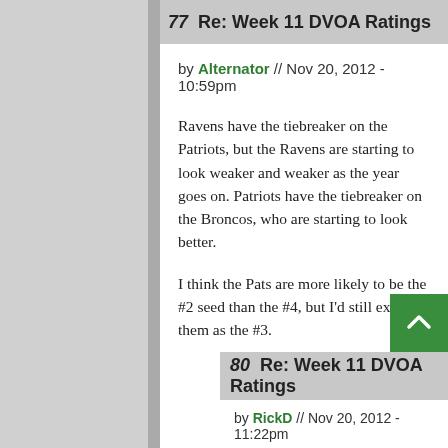77  Re: Week 11 DVOA Ratings
by Alternator // Nov 20, 2012 - 10:59pm
Ravens have the tiebreaker on the Patriots, but the Ravens are starting to look weaker and weaker as the year goes on. Patriots have the tiebreaker on the Broncos, who are starting to look better.
I think the Pats are more likely to be the #2 seed than the #4, but I'd still expect them as the #3.
80  Re: Week 11 DVOA Ratings
by RickD // Nov 20, 2012 - 11:22pm